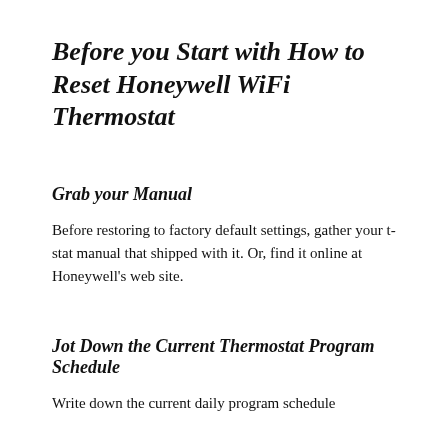Before you Start with How to Reset Honeywell WiFi Thermostat
Grab your Manual
Before restoring to factory default settings, gather your t-stat manual that shipped with it. Or, find it online at Honeywell’s web site.
Jot Down the Current Thermostat Program Schedule
Write down the current daily program schedule